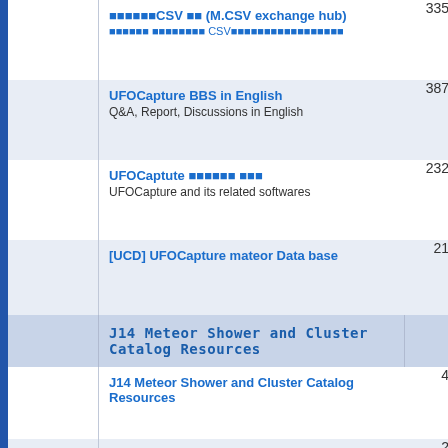■■■■■■CSV ■■ (M.CSV exchange hub)
■■■■■■ ■■■■■■■■ CSV■■■■■■■■■■■■■■■■■
UFOCapture BBS in English
Q&A, Report, Discussions in English
UFOCaptute ■■■■■■ ■■■
UFOCapture and its related softwares
[UCD] UFOCapture mateor Data base
J14 Meteor Shower and Cluster Catalog Resources
J14 Meteor Shower and Cluster Catalog Resources
Details of J14 New Showers
■■■■■■■■ -- ■■■■■■■■■■■■■■ (Rare Object Gallery)
■■■■■
Meteor, Fire Ball
■■■■■■■